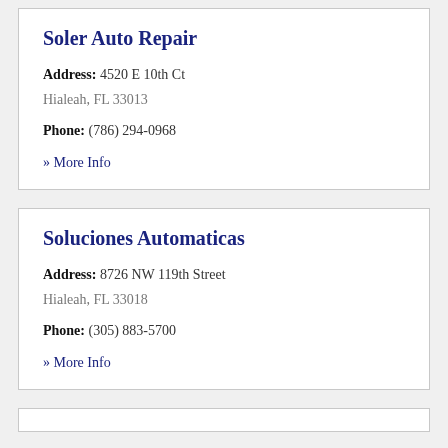Soler Auto Repair
Address: 4520 E 10th Ct
Hialeah, FL 33013
Phone: (786) 294-0968
» More Info
Soluciones Automaticas
Address: 8726 NW 119th Street
Hialeah, FL 33018
Phone: (305) 883-5700
» More Info